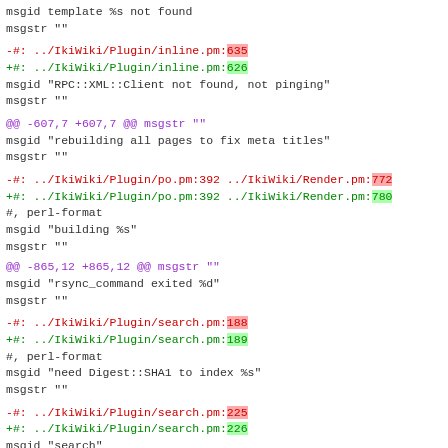msgid  template %s not found
 msgstr ""
-#: ../IkiWiki/Plugin/inline.pm:635
+#: ../IkiWiki/Plugin/inline.pm:626
 msgid "RPC::XML::Client not found, not pinging"
 msgstr ""
@@ -607,7 +607,7 @@ msgstr ""
 msgid "rebuilding all pages to fix meta titles"
 msgstr ""
-#: ../IkiWiki/Plugin/po.pm:392 ../IkiWiki/Render.pm:772
+#: ../IkiWiki/Plugin/po.pm:392 ../IkiWiki/Render.pm:780
 #, perl-format
 msgid "building %s"
 msgstr ""
@@ -865,12 +865,12 @@ msgstr ""
 msgid "rsync_command exited %d"
 msgstr ""
-#: ../IkiWiki/Plugin/search.pm:188
+#: ../IkiWiki/Plugin/search.pm:189
 #, perl-format
 msgid "need Digest::SHA1 to index %s"
 msgstr ""
-#: ../IkiWiki/Plugin/search.pm:225
+#: ../IkiWiki/Plugin/search.pm:226
 msgid "search"
 msgstr ""